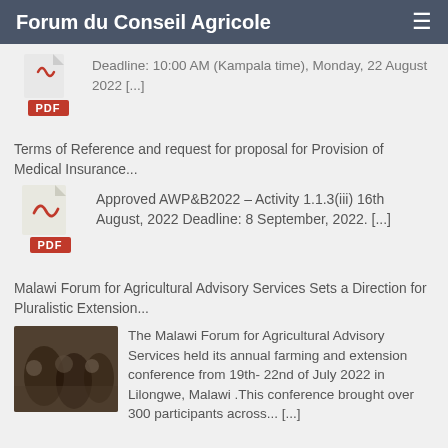Forum du Conseil Agricole
Deadline: 10:00 AM (Kampala time), Monday, 22 August 2022 [...]
Terms of Reference and request for proposal for Provision of Medical Insurance...
Approved AWP&B2022 – Activity 1.1.3(iii) 16th August, 2022 Deadline: 8 September, 2022. [...]
Malawi Forum for Agricultural Advisory Services Sets a Direction for Pluralistic Extension...
The Malawi Forum for Agricultural Advisory Services held its annual farming and extension conference from 19th- 22nd of July 2022 in Lilongwe, Malawi .This conference brought over 300 participants across... [...]